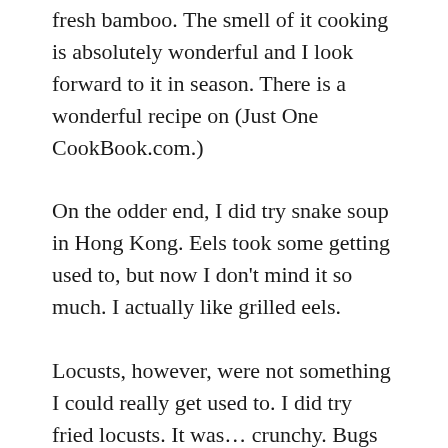fresh bamboo. The smell of it cooking is absolutely wonderful and I look forward to it in season. There is a wonderful recipe on (Just One CookBook.com.)
On the odder end, I did try snake soup in Hong Kong. Eels took some getting used to, but now I don't mind it so much. I actually like grilled eels.
Locusts, however, were not something I could really get used to. I did try fried locusts. It was… crunchy. Bugs are a food source in many parts of the world and many eco-friendly activists are advocating eating bugs as better for the earth.There are online recipes for honey and